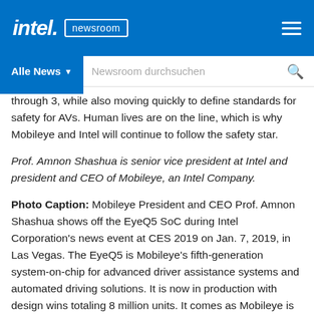intel. newsroom
Alle News · Newsroom durchsuchen
through 3, while also moving quickly to define standards for safety for AVs. Human lives are on the line, which is why Mobileye and Intel will continue to follow the safety star.
Prof. Amnon Shashua is senior vice president at Intel and president and CEO of Mobileye, an Intel Company.
Photo Caption: Mobileye President and CEO Prof. Amnon Shashua shows off the EyeQ5 SoC during Intel Corporation's news event at CES 2019 on Jan. 7, 2019, in Las Vegas. The EyeQ5 is Mobileye's fifth-generation system-on-chip for advanced driver assistance systems and automated driving solutions. It is now in production with design wins totaling 8 million units. It comes as Mobileye is fostering a developer ecosystem to expand application development for the EyeQ platform. (Credit: Walden Kirsch/Intel Corporation)